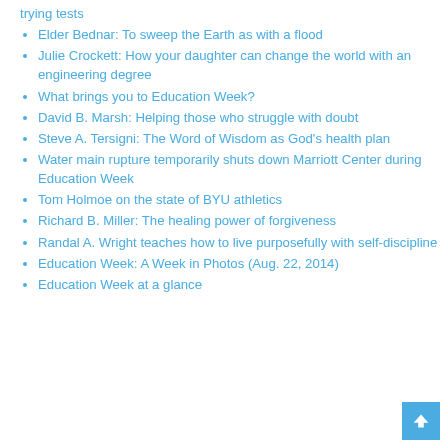trying tests
Elder Bednar: To sweep the Earth as with a flood
Julie Crockett: How your daughter can change the world with an engineering degree
What brings you to Education Week?
David B. Marsh: Helping those who struggle with doubt
Steve A. Tersigni: The Word of Wisdom as God's health plan
Water main rupture temporarily shuts down Marriott Center during Education Week
Tom Holmoe on the state of BYU athletics
Richard B. Miller: The healing power of forgiveness
Randal A. Wright teaches how to live purposefully with self-discipline
Education Week: A Week in Photos (Aug. 22, 2014)
Education Week at a glance